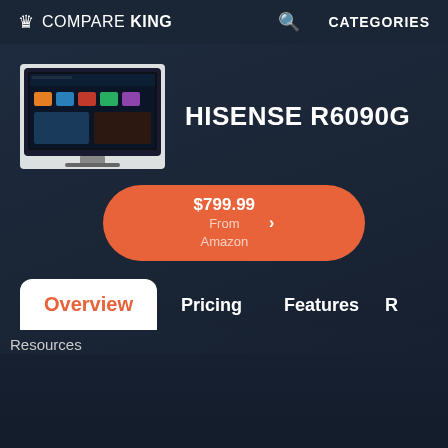Compare King — CATEGORIES
HISENSE R6090G
[Figure (screenshot): Hisense R6090G TV product image showing a TV with a smart TV interface on screen]
$799.99 From Amazon
Overview
Pricing
Features
R
Resources
Copyright © 2021 CompareKing.com